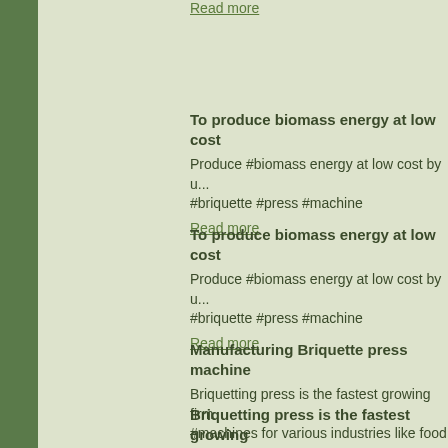Read more
To produce biomass energy at low cost
Produce #biomass energy at low cost by u... #briquette #press #machine
Read more
To produce biomass energy at low cost
Produce #biomass energy at low cost by u... #briquette #press #machine
Read more
Manufacturing Briquette press machine
Briquetting press is the fastest growing firm #machines for various industries like food a...
Read more
Briquetting press is the fastest growing